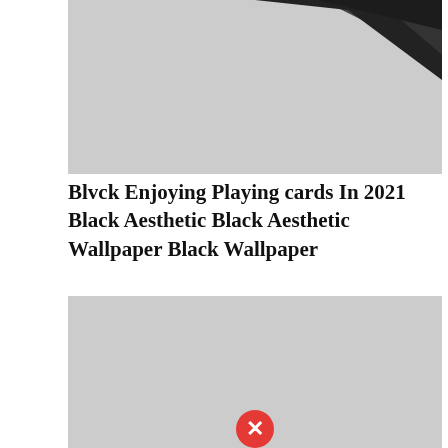[Figure (photo): Partial image showing top portion of a dark/black playing card graphic against a light gray background]
Blvck Enjoying Playing cards In 2021 Black Aesthetic Black Aesthetic Wallpaper Black Wallpaper
[Figure (photo): Gray placeholder image with a red circle error/close icon (X symbol) at the bottom center, indicating a broken or unloaded image]